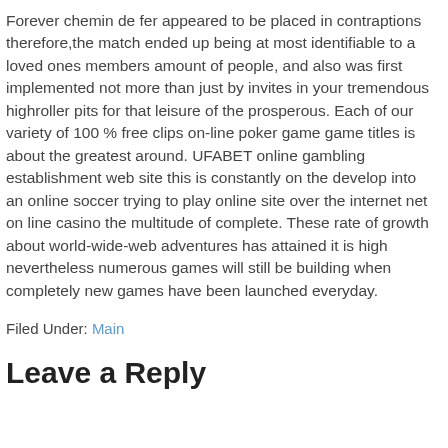Forever chemin de fer appeared to be placed in contraptions therefore,the match ended up being at most identifiable to a loved ones members amount of people, and also was first implemented not more than just by invites in your tremendous highroller pits for that leisure of the prosperous. Each of our variety of 100 % free clips on-line poker game game titles is about the greatest around. UFABET online gambling establishment web site this is constantly on the develop into an online soccer trying to play online site over the internet net on line casino the multitude of complete. These rate of growth about world-wide-web adventures has attained it is high nevertheless numerous games will still be building when completely new games have been launched everyday.
Filed Under: Main
Leave a Reply